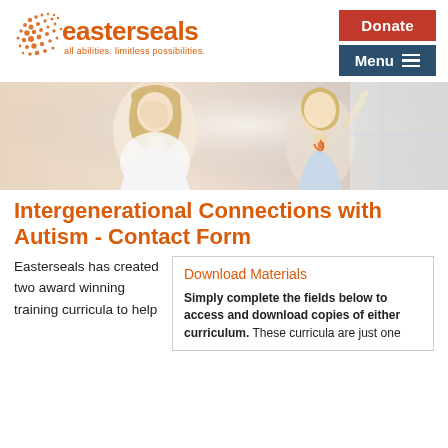[Figure (logo): Easterseals logo with orange dot pattern and text 'easterseals all abilities. limitless possibilities.']
[Figure (photo): Hero photo showing a woman (blonde, facing left) and a young boy (raising hand, smiling) in a light interior setting]
Intergenerational Connections with Autism - Contact Form
Easterseals has created two award winning training curricula to help
Download Materials
Simply complete the fields below to access and download copies of either curriculum. These curricula are just one